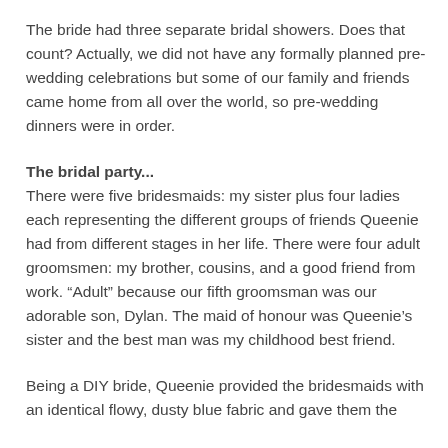The bride had three separate bridal showers. Does that count? Actually, we did not have any formally planned pre-wedding celebrations but some of our family and friends came home from all over the world, so pre-wedding dinners were in order.
The bridal party...
There were five bridesmaids: my sister plus four ladies each representing the different groups of friends Queenie had from different stages in her life. There were four adult groomsmen: my brother, cousins, and a good friend from work. “Adult” because our fifth groomsman was our adorable son, Dylan. The maid of honour was Queenie’s sister and the best man was my childhood best friend.
Being a DIY bride, Queenie provided the bridesmaids with an identical flowy, dusty blue fabric and gave them the